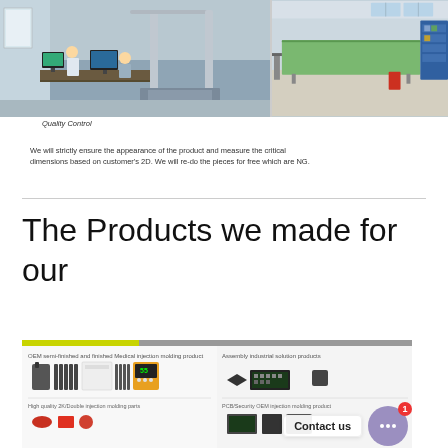[Figure (photo): Two workers at computers with a coordinate measuring machine in a quality control lab]
[Figure (photo): Wide shot of a factory floor/assembly area with green tables and blue shelving]
Quality Control
We will strictly ensure the appearance of the product and measure the critical dimensions based on customer's 2D. We will re-do the pieces for free which are NG.
The Products we made for our customers
[Figure (photo): Product catalog image showing OEM semi-finished and finished medical injection molding products and PCB/Security OEM injection molding products with a Contact us chat overlay]